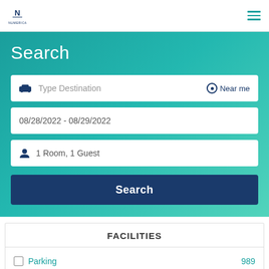Navigation bar with logo and hamburger menu
Search
Type Destination | Near me
08/28/2022 - 08/29/2022
1 Room, 1 Guest
Search
FACILITIES
Parking 989
Restaurant 213